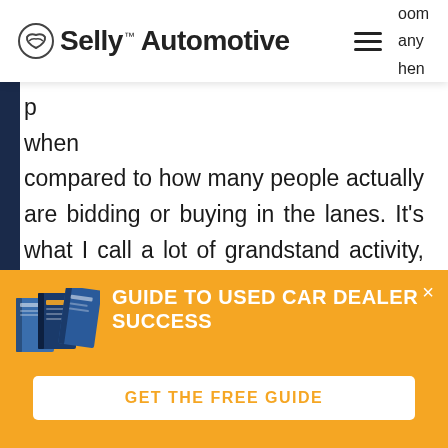Selly Automotive
compared to how many people actually are bidding or buying in the lanes. It's what I call a lot of grandstand activity, grandstand activities when you have 687 people logged in and nobody's bidding on a good car,
[Figure (screenshot): Banner advertisement for 'Guide to Used Car Dealer Success' with book images and a 'Get the Free Guide' button on an orange background]
GUIDE TO USED CAR DEALER SUCCESS
GET THE FREE GUIDE